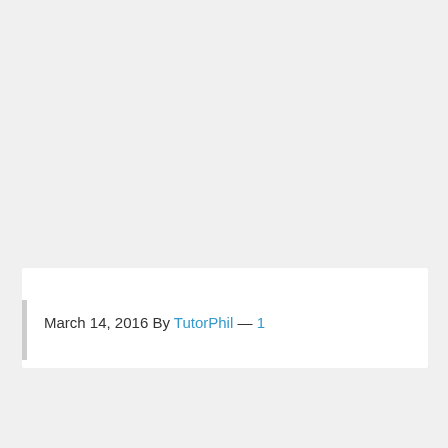March 14, 2016 By TutorPhil — 1